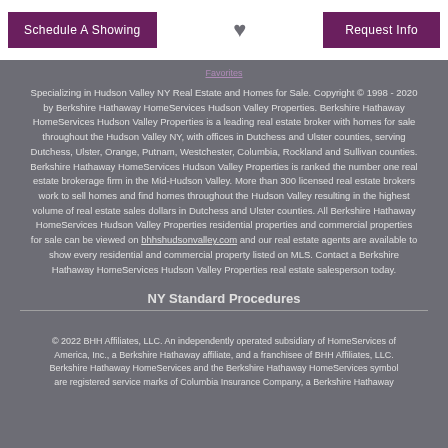Schedule A Showing | [heart] | Request Info
Specializing in Hudson Valley NY Real Estate and Homes for Sale. Copyright © 1998 - 2020 by Berkshire Hathaway HomeServices Hudson Valley Properties. Berkshire Hathaway HomeServices Hudson Valley Properties is a leading real estate broker with homes for sale throughout the Hudson Valley NY, with offices in Dutchess and Ulster counties, serving Dutchess, Ulster, Orange, Putnam, Westchester, Columbia, Rockland and Sullivan counties. Berkshire Hathaway HomeServices Hudson Valley Properties is ranked the number one real estate brokerage firm in the Mid-Hudson Valley. More than 300 licensed real estate brokers work to sell homes and find homes throughout the Hudson Valley resulting in the highest volume of real estate sales dollars in Dutchess and Ulster counties. All Berkshire Hathaway HomeServices Hudson Valley Properties residential properties and commercial properties for sale can be viewed on bhhshudsonvalley.com and our real estate agents are available to show every residential and commercial property listed on MLS. Contact a Berkshire Hathaway HomeServices Hudson Valley Properties real estate salesperson today.
NY Standard Procedures
© 2022 BHH Affiliates, LLC. An independently operated subsidiary of HomeServices of America, Inc., a Berkshire Hathaway affiliate, and a franchisee of BHH Affiliates, LLC. Berkshire Hathaway HomeServices and the Berkshire Hathaway HomeServices symbol are registered service marks of Columbia Insurance Company, a Berkshire Hathaway affiliate. Equal Housing Opportunity.